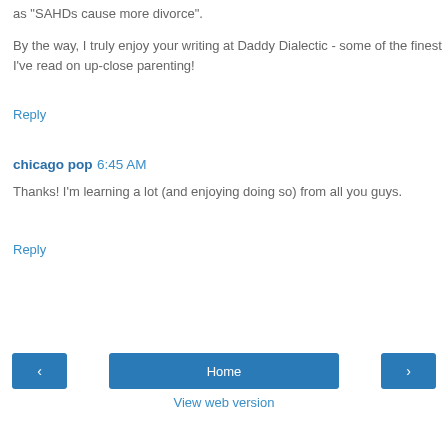as "SAHDs cause more divorce".
By the way, I truly enjoy your writing at Daddy Dialectic - some of the finest I've read on up-close parenting!
Reply
chicago pop 6:45 AM
Thanks! I'm learning a lot (and enjoying doing so) from all you guys.
Reply
< Home > View web version